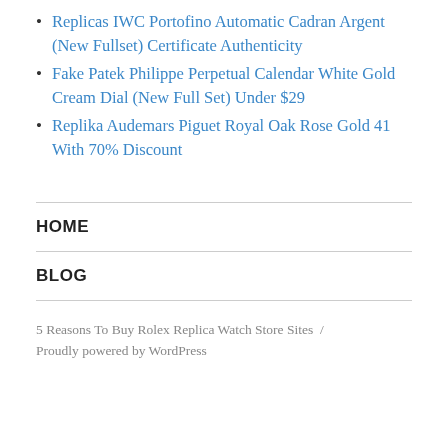Replicas IWC Portofino Automatic Cadran Argent (New Fullset) Certificate Authenticity
Fake Patek Philippe Perpetual Calendar White Gold Cream Dial (New Full Set) Under $29
Replika Audemars Piguet Royal Oak Rose Gold 41 With 70% Discount
HOME
BLOG
5 Reasons To Buy Rolex Replica Watch Store Sites / Proudly powered by WordPress